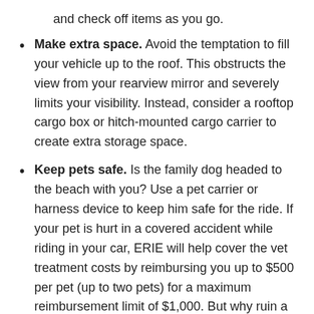and check off items as you go.
Make extra space. Avoid the temptation to fill your vehicle up to the roof. This obstructs the view from your rearview mirror and severely limits your visibility. Instead, consider a rooftop cargo box or hitch-mounted cargo carrier to create extra storage space.
Keep pets safe. Is the family dog headed to the beach with you? Use a pet carrier or harness device to keep him safe for the ride. If your pet is hurt in a covered accident while riding in your car, ERIE will help cover the vet treatment costs by reimbursing you up to $500 per pet (up to two pets) for a maximum reimbursement limit of $1,000. But why ruin a getaway with trips to the vet? It's better to learn how you can keep pets safe in the car right